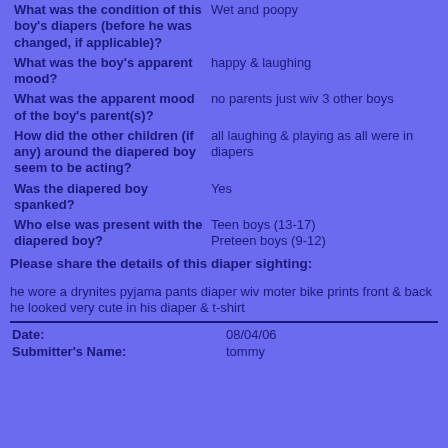| Question | Answer |
| --- | --- |
| What was the condition of this boy's diapers (before he was changed, if applicable)? | Wet and poopy |
| What was the boy's apparent mood? | happy & laughing |
| What was the apparent mood of the boy's parent(s)? | no parents just wiv 3 other boys |
| How did the other children (if any) around the diapered boy seem to be acting? | all laughing & playing as all were in diapers |
| Was the diapered boy spanked? | Yes |
| Who else was present with the diapered boy? | Teen boys (13-17)
Preteen boys (9-12) |
Please share the details of this diaper sighting:
he wore a drynites pyjama pants diaper wiv moter bike prints front & back he looked very cute in his diaper & t-shirt
| Field | Value |
| --- | --- |
| Date: | 08/04/06 |
| Submitter's Name: | tommy |